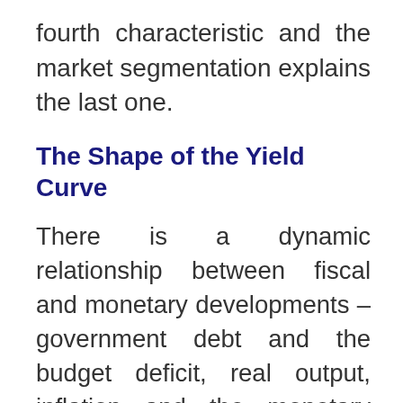fourth characteristic and the market segmentation explains the last one.
The Shape of the Yield Curve
There is a dynamic relationship between fiscal and monetary developments – government debt and the budget deficit, real output, inflation and the monetary policy rate– and the shape of the yield curve.